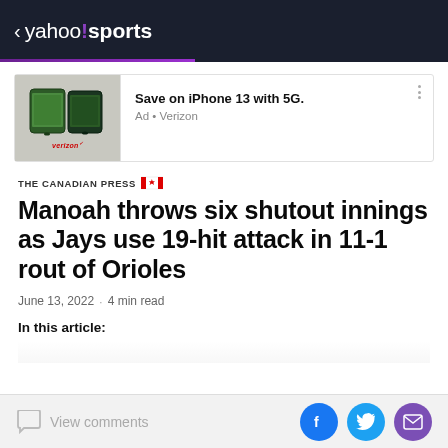< yahoo!sports
[Figure (screenshot): Verizon advertisement banner showing iPhone 13 devices with text 'Save on iPhone 13 with 5G.' and 'Ad • Verizon']
THE CANADIAN PRESS
Manoah throws six shutout innings as Jays use 19-hit attack in 11-1 rout of Orioles
June 13, 2022 · 4 min read
In this article:
View comments